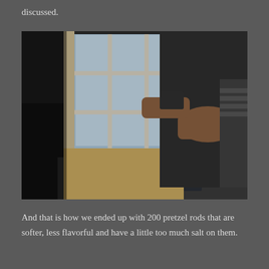discussed.
[Figure (photo): A person standing indoors near a door with glass panes, holding an object. Natural light comes through the multi-pane door. A floor mat is visible near the door on tile flooring.]
And that is how we ended up with 200 pretzel rods that are softer, less flavorful and have a little too much salt on them.